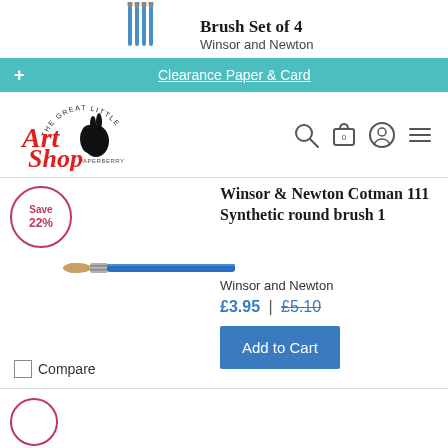[Figure (photo): Winsor & Newton brush set of 4 with blue handles, shown at top of page]
Brush Set of 4
Winsor and Newton
Clearance Paper & Card
[Figure (logo): The Great Little Art Shop Paperberry logo with rabbit silhouette]
[Figure (other): Navigation icons: search, cart (0), user, menu]
[Figure (photo): Save 22% badge circle]
[Figure (photo): Winsor & Newton Cotman 111 Synthetic round brush 1 product image]
Winsor & Newton Cotman 111 Synthetic round brush 1
Winsor and Newton
£3.95 | £5.10
Add to Cart
Compare